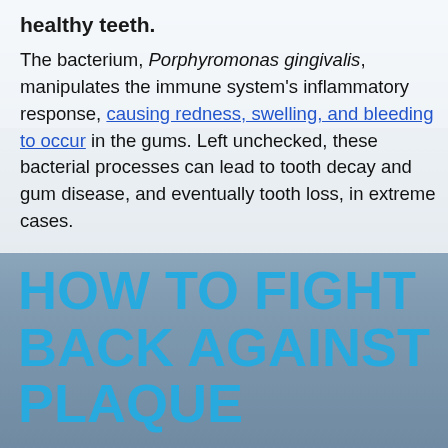healthy teeth.
The bacterium, Porphyromonas gingivalis, manipulates the immune system's inflammatory response, causing redness, swelling, and bleeding to occur in the gums. Left unchecked, these bacterial processes can lead to tooth decay and gum disease, and eventually tooth loss, in extreme cases.
HOW TO FIGHT BACK AGAINST PLAQUE